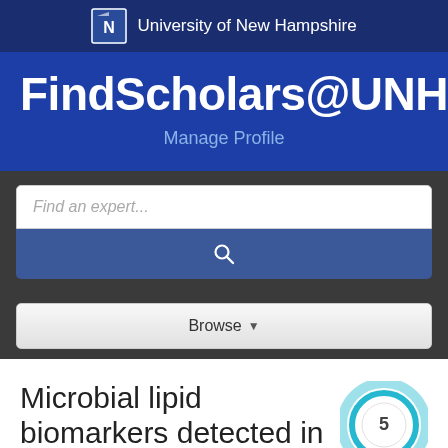[Figure (logo): University of New Hampshire logo and wordmark in dark navy header bar]
FindScholars@UNH
Manage Profile
[Figure (screenshot): Search bar with placeholder text 'Find an expert...' and blue search button with magnifier icon]
[Figure (screenshot): Browse dropdown button]
Microbial lipid biomarkers detected in deep subsurface
[Figure (infographic): Circular teal citation badge showing the number 5]